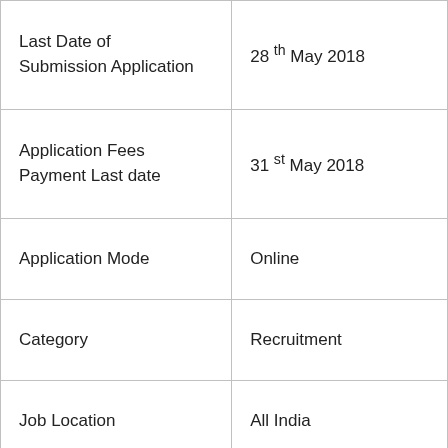|  |  |
| --- | --- |
| Last Date of Submission Application | 28 th May 2018 |
| Application Fees Payment Last date | 31 st May 2018 |
| Application Mode | Online |
| Category | Recruitment |
| Job Location | All India |
| Tentative Examination date | Updated Soon |
|  |  |